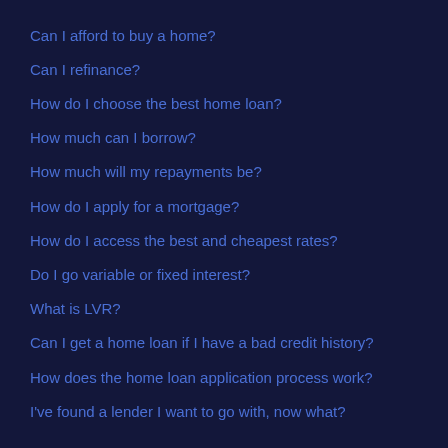Can I afford to buy a home?
Can I refinance?
How do I choose the best home loan?
How much can I borrow?
How much will my repayments be?
How do I apply for a mortgage?
How do I access the best and cheapest rates?
Do I go variable or fixed interest?
What is LVR?
Can I get a home loan if I have a bad credit history?
How does the home loan application process work?
I've found a lender I want to go with, now what?